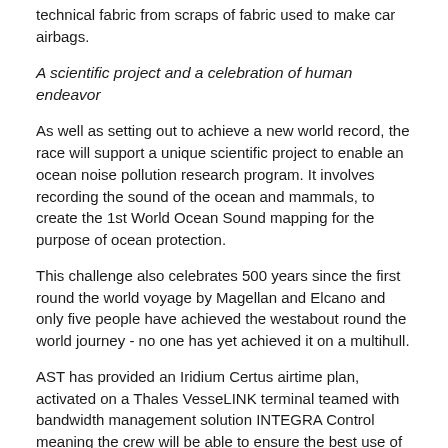technical fabric from scraps of fabric used to make car airbags.
A scientific project and a celebration of human endeavor
As well as setting out to achieve a new world record, the race will support a unique scientific project to enable an ocean noise pollution research program. It involves recording the sound of the ocean and mammals, to create the 1st World Ocean Sound mapping for the purpose of ocean protection.
This challenge also celebrates 500 years since the first round the world voyage by Magellan and Elcano and only five people have achieved the westabout round the world journey - no one has yet achieved it on a multihull.
AST has provided an Iridium Certus airtime plan, activated on a Thales VesseLINK terminal teamed with bandwidth management solution INTEGRA Control meaning the crew will be able to ensure the best use of bandwidth and connectivity throughout the journey.